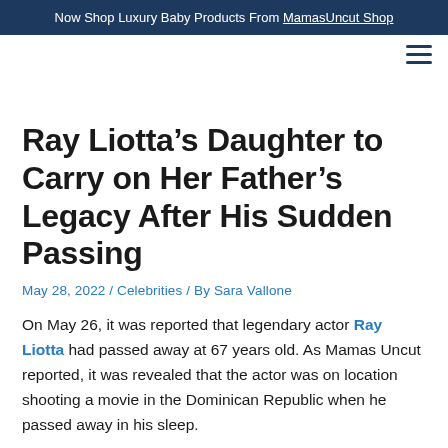Now Shop Luxury Baby Products From MamasUncut Shop
Ray Liotta’s Daughter to Carry on Her Father’s Legacy After His Sudden Passing
May 28, 2022 / Celebrities / By Sara Vallone
On May 26, it was reported that legendary actor Ray Liotta had passed away at 67 years old. As Mamas Uncut reported, it was revealed that the actor was on location shooting a movie in the Dominican Republic when he passed away in his sleep.